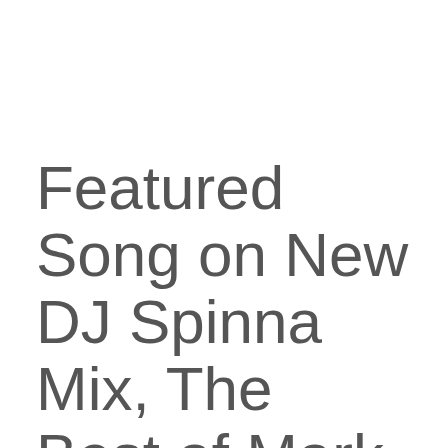Featured Song on New DJ Spinna Mix, The Best of Mark de Clive-Lowe
by Yameen on December 14, 2011 • 0 Comments
I have a featured tune on the new DJ Spinna mix, The Best of Mark de Clive-Lowe. Check it out embedded